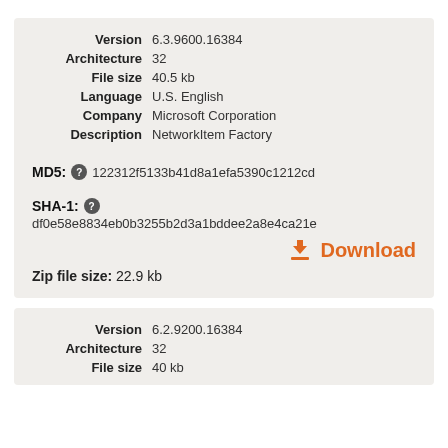| Version | 6.3.9600.16384 |
| Architecture | 32 |
| File size | 40.5 kb |
| Language | U.S. English |
| Company | Microsoft Corporation |
| Description | NetworkItem Factory |
MD5: 122312f5133b41d8a1efa5390c1212cd
SHA-1: df0e58e8834eb0b3255b2d3a1bddee2a8e4ca21e
Download
Zip file size: 22.9 kb
| Version | 6.2.9200.16384 |
| Architecture | 32 |
| File size | 40 kb |